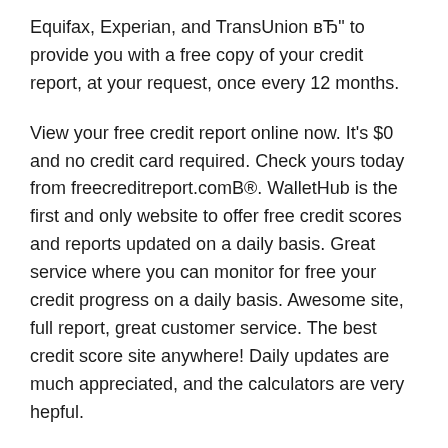Equifax, Experian, and TransUnion вЂ" to provide you with a free copy of your credit report, at your request, once every 12 months.
View your free credit report online now. It's $0 and no credit card required. Check yours today from freecreditreport.comВ®. WalletHub is the first and only website to offer free credit scores and reports updated on a daily basis. Great service where you can monitor for free your credit progress on a daily basis. Awesome site, full report, great customer service. The best credit score site anywhere! Daily updates are much appreciated, and the calculators are very hepful.
Free credit reports, updated daily. WalletHub is the only site with free credit reports that are updated on a daily basis. With the latest credit report info, youвЂ™ll be able to spot errors,